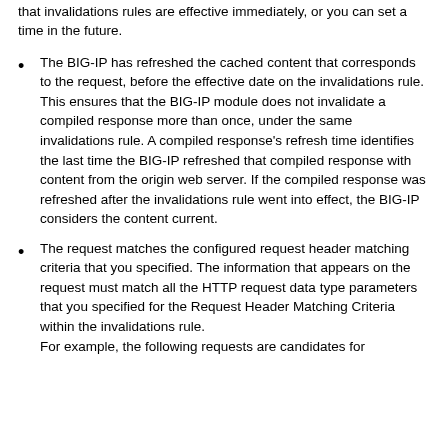The invalidations rule has reached its effective date. You can specify that invalidations rules are effective immediately, or you can set a time in the future.
The BIG-IP has refreshed the cached content that corresponds to the request, before the effective date on the invalidations rule.
This ensures that the BIG-IP module does not invalidate a compiled response more than once, under the same invalidations rule. A compiled response's refresh time identifies the last time the BIG-IP refreshed that compiled response with content from the origin web server. If the compiled response was refreshed after the invalidations rule went into effect, the BIG-IP considers the content current.
The request matches the configured request header matching criteria that you specified. The information that appears on the request must match all the HTTP request data type parameters that you specified for the Request Header Matching Criteria within the invalidations rule.
For example, the following requests are candidates for